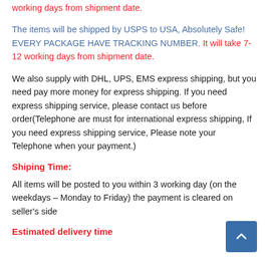working days from shipment date.
The items will be shipped by USPS to USA, Absolutely Safe! EVERY PACKAGE HAVE TRACKING NUMBER. It will take 7-12 working days from shipment date.
We also supply with DHL, UPS, EMS express shipping, but you need pay more money for express shipping. If you need express shipping service, please contact us before order(Telephone are must for international express shipping, If you need express shipping service, Please note your Telephone when your payment.)
Shiping Time:
All items will be posted to you within 3 working day (on the weekdays – Monday to Friday) the payment is cleared on seller's side
Estimated delivery time